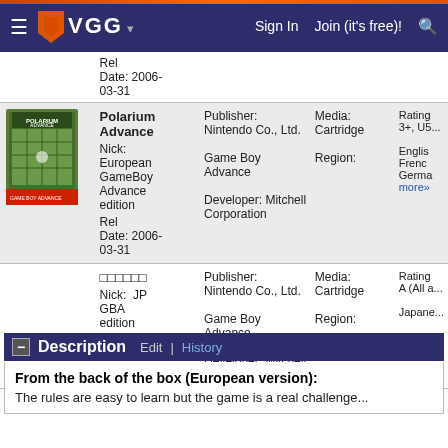VGG - Sign In | Join (it's free)!
| Image | Title/Nick/Date | Publisher/Platform/Developer | Media/Region | Rating/Language |
| --- | --- | --- | --- | --- |
|  | Rel Date: 2006-03-31 |  |  |  |
| [Polarium Advance box art] | Polarium Advance
Nick: European GameBoy Advance edition
Rel Date: 2006-03-31 | Publisher: Nintendo Co., Ltd.
Game Boy Advance
Developer: Mitchell Corporation | Media: Cartridge
Region: | Rating 3+, US...
English, French, Germa...
more» |
|  | □□□□□□□
Nick: JP GBA edition
Rel Date: 2005-10-13 | Publisher: Nintendo Co., Ltd.
Game Boy Advance
Developer: Mitchell Corporation | Media: Cartridge
Region: | Rating A (All a...
Japane... |
Description
From the back of the box (European version):
The rules are easy to learn but the game is a real challenge...